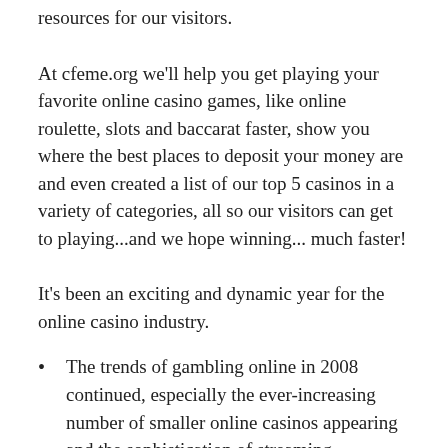resources for our visitors.
At cfeme.org we'll help you get playing your favorite online casino games, like online roulette, slots and baccarat faster, show you where the best places to deposit your money are and even created a list of our top 5 casinos in a variety of categories, all so our visitors can get to playing...and we hope winning... much faster!
It’s been an exciting and dynamic year for the online casino industry.
The trends of gambling online in 2008 continued, especially the ever-increasing number of smaller online casinos appearing and the sophistication of streaming multimedia.
Flash and other browser-based technologies made the “no-download” casino a reality, rather